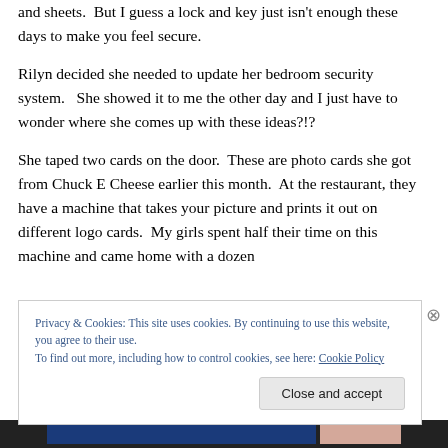and sheets.  But I guess a lock and key just isn't enough these days to make you feel secure.
Rilyn decided she needed to update her bedroom security system.   She showed it to me the other day and I just have to wonder where she comes up with these ideas?!?
She taped two cards on the door.  These are photo cards she got from Chuck E Cheese earlier this month.  At the restaurant, they have a machine that takes your picture and prints it out on different logo cards.  My girls spent half their time on this machine and came home with a dozen
Privacy & Cookies: This site uses cookies. By continuing to use this website, you agree to their use.
To find out more, including how to control cookies, see here: Cookie Policy
Close and accept